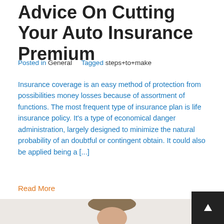Advice On Cutting Your Auto Insurance Premium
Posted in General    Tagged steps+to+make
Insurance coverage is an easy method of protection from possibilities money losses because of assortment of functions. The most frequent type of insurance plan is life insurance policy. It's a type of economical danger administration, largely designed to minimize the natural probability of an doubtful or contingent obtain. It could also be applied being a [...]
Read More
[Figure (photo): Partial view of a person with brown hair, bottom portion of a blog article page]